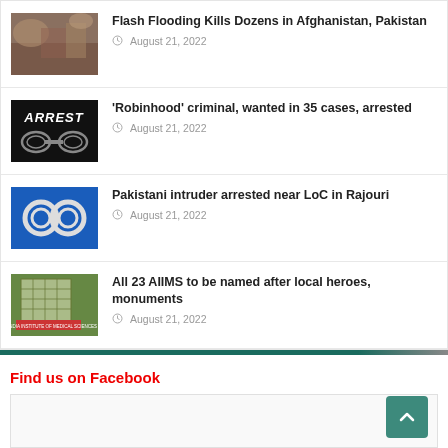Flash Flooding Kills Dozens in Afghanistan, Pakistan — August 21, 2022
'Robinhood' criminal, wanted in 35 cases, arrested — August 21, 2022
Pakistani intruder arrested near LoC in Rajouri — August 21, 2022
All 23 AIIMS to be named after local heroes, monuments — August 21, 2022
Find us on Facebook
[Figure (other): Facebook embed placeholder box with scroll-to-top button]